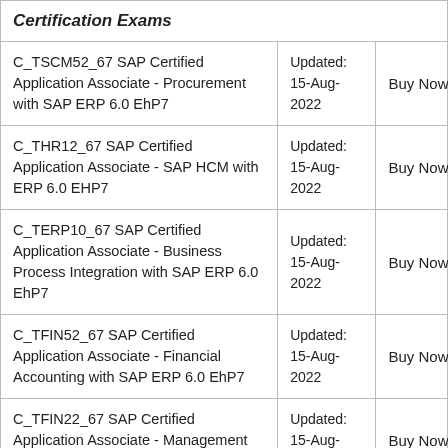| Certification Exams |  |  |
| --- | --- | --- |
| C_TSCM52_67 SAP Certified Application Associate - Procurement with SAP ERP 6.0 EhP7 | Updated: 15-Aug-2022 | Buy Now |
| C_THR12_67 SAP Certified Application Associate - SAP HCM with ERP 6.0 EHP7 | Updated: 15-Aug-2022 | Buy Now |
| C_TERP10_67 SAP Certified Application Associate - Business Process Integration with SAP ERP 6.0 EhP7 | Updated: 15-Aug-2022 | Buy Now |
| C_TFIN52_67 SAP Certified Application Associate - Financial Accounting with SAP ERP 6.0 EhP7 | Updated: 15-Aug-2022 | Buy Now |
| C_TFIN22_67 SAP Certified Application Associate - Management Accounting with SAP ERP 6.0 EhP7 | Updated: 15-Aug-2022 | Buy Now |
| C_TPLM30_67 SAP Certified |  |  |